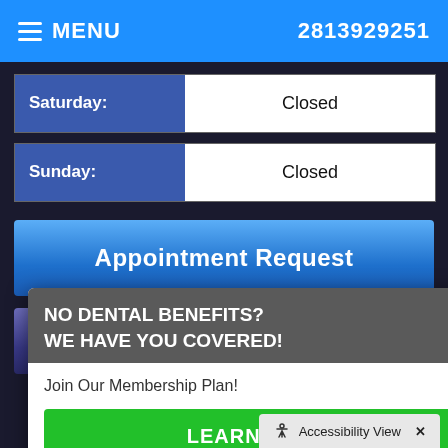MENU  2813929251
| Day | Hours |
| --- | --- |
| Saturday: | Closed |
| Sunday: | Closed |
Appointment Request
...onials
NO DENTAL BENEFITS? WE HAVE YOU COVERED!
Join Our Membership Plan!
LEARN MORE
Accessibility View